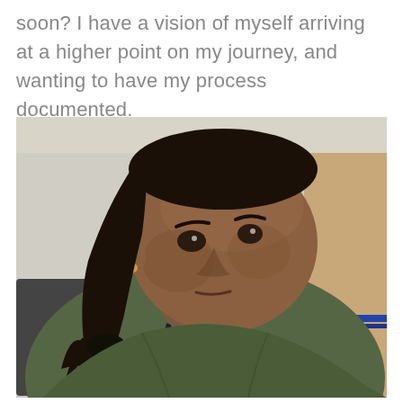soon? I have a vision of myself arriving at a higher point on my journey, and wanting to have my process documented.
[Figure (photo): A woman with dark dreadlocks pulled back, wearing an olive/dark green cardigan over a black top, sitting in what appears to be an office or classroom setting with white walls and blue trim visible in the background. She is looking slightly to the side with a neutral expression.]